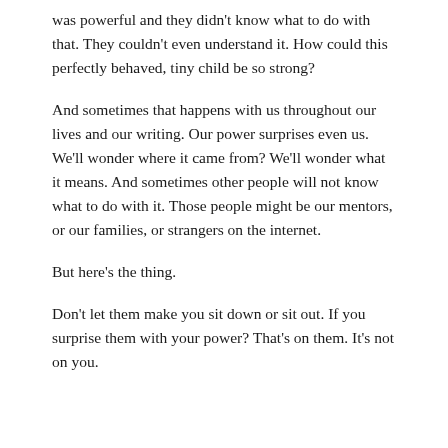was powerful and they didn't know what to do with that. They couldn't even understand it. How could this perfectly behaved, tiny child be so strong?
And sometimes that happens with us throughout our lives and our writing. Our power surprises even us. We'll wonder where it came from? We'll wonder what it means. And sometimes other people will not know what to do with it. Those people might be our mentors, or our families, or strangers on the internet.
But here's the thing.
Don't let them make you sit down or sit out. If you surprise them with your power? That's on them. It's not on you.